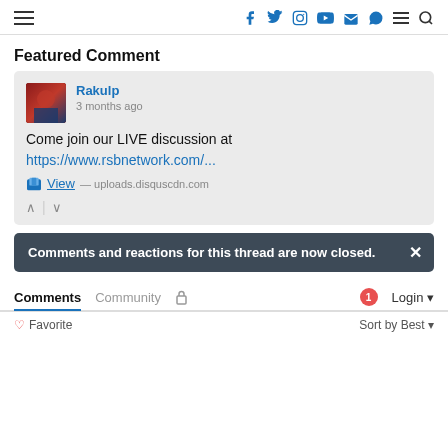Navigation header with hamburger menu, social icons (facebook, twitter, instagram, youtube, email, telegram), menu, and search icons
Featured Comment
Rakulp
3 months ago
Come join our LIVE discussion at
https://www.rsbnetwork.com/...
View — uploads.disquscdn.com
Comments and reactions for this thread are now closed.
Comments   Community   🔒   1   Login
Favorite   Sort by Best